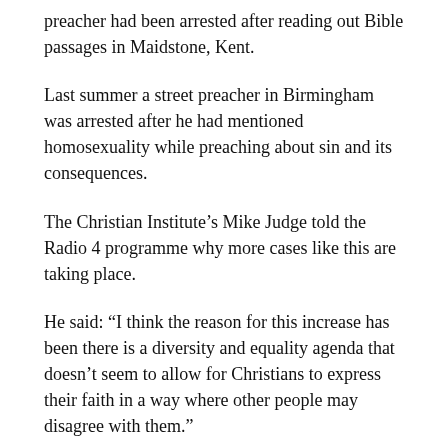preacher had been arrested after reading out Bible passages in Maidstone, Kent.
Last summer a street preacher in Birmingham was arrested after he had mentioned homosexuality while preaching about sin and its consequences.
The Christian Institute’s Mike Judge told the Radio 4 programme why more cases like this are taking place.
He said: “I think the reason for this increase has been there is a diversity and equality agenda that doesn’t seem to allow for Christians to express their faith in a way where other people may disagree with them.”
He said that sensitivity about issues such as minority faiths and sexual orientation has put police